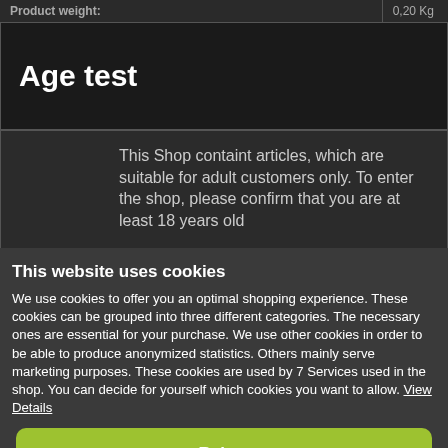| Product weight: | 0,20 Kg |
| --- | --- |
Age test
This Shop containt articles, which are suitable for adult customers only. To enter the shop, please confirm that you are at least 18 years old.
This website uses cookies
We use cookies to offer you an optimal shopping experience. These cookies can be grouped into three different categories. The necessary ones are essential for your purchase. We use other cookies in order to be able to produce anonymized statistics. Others mainly serve marketing purposes. These cookies are used by 7 Services used in the shop. You can decide for yourself which cookies you want to allow. View Details
Reject
Select all